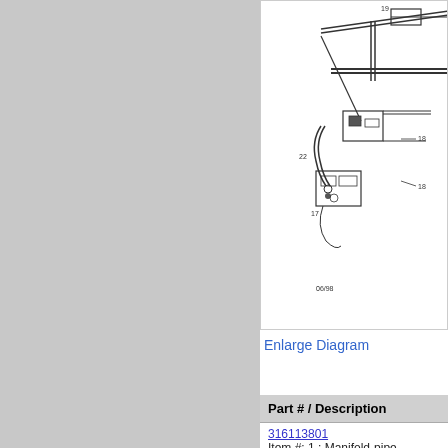[Figure (schematic): Engineering schematic diagram of gas range burner assembly showing manifold pipe, valves, and ignitor components with numbered callouts (17, 18, 19, 22). Date stamp 06/98 visible.]
Enlarge Diagram
| Part # / Description |
| --- |
| 316113801
Item #: 1 : Manifold-pipe |
| 316127500
Item #: 2 : Valve-top Burner |
| 316127502
Item #: 2 : Valve-top Burner,large ,( |
| 316103600
Item #: 3 : Switch-ignitor,(4) |
| 316059612
Item #: 4 : Tube-burner, Red, Rf |
| 316059613 |